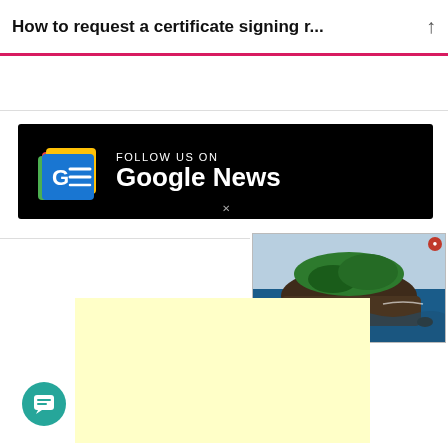How to request a certificate signing r...
[Figure (other): Google News follow banner with Google News logo icon and text 'FOLLOW US ON Google News' on black background]
[Figure (photo): Aerial photograph of a rocky island with green vegetation surrounded by ocean]
[Figure (other): Yellow advertisement placeholder box]
[Figure (other): Teal circular chat/messaging button with message icon in bottom left corner]